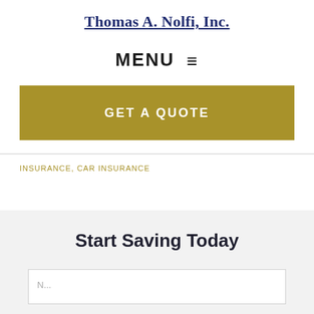Thomas A. Nolfi, Inc.
MENU ☰
GET A QUOTE
INSURANCE, CAR INSURANCE
Start Saving Today
N...